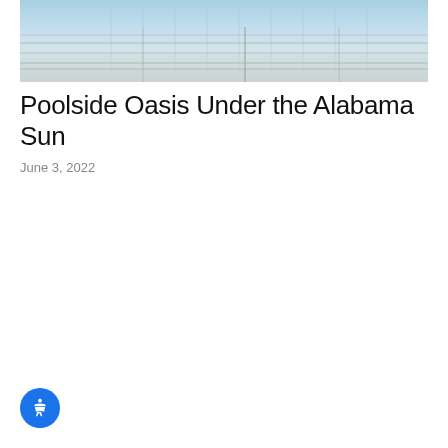[Figure (photo): Aerial/overhead view of a swimming pool with blue water and light-colored stone pavers or tiles alongside the pool edge, with green grass visible.]
Poolside Oasis Under the Alabama Sun
June 3, 2022